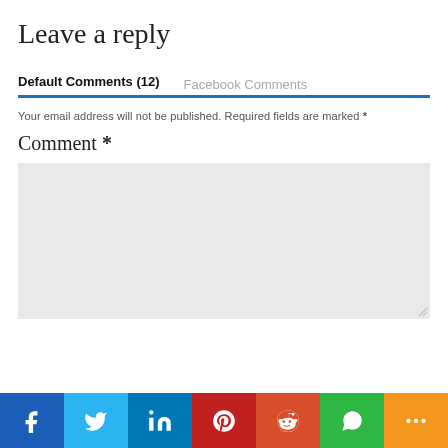Leave a reply
Default Comments (12)   Facebook Comments
Your email address will not be published. Required fields are marked *
Comment *
[Figure (screenshot): Social sharing bar with icons for Facebook, Twitter, LinkedIn, Pinterest, Reddit, WhatsApp, and More]